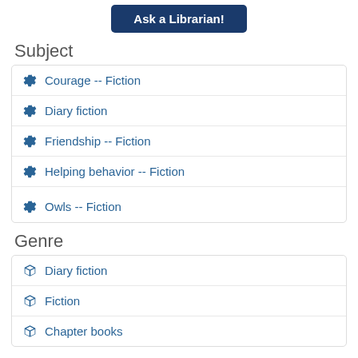[Figure (other): Ask a Librarian button - dark blue rounded button]
Subject
Courage -- Fiction
Diary fiction
Friendship -- Fiction
Helping behavior -- Fiction
Owls -- Fiction
Genre
Diary fiction
Fiction
Chapter books
Member of
Branches (Scholastic Inc.)